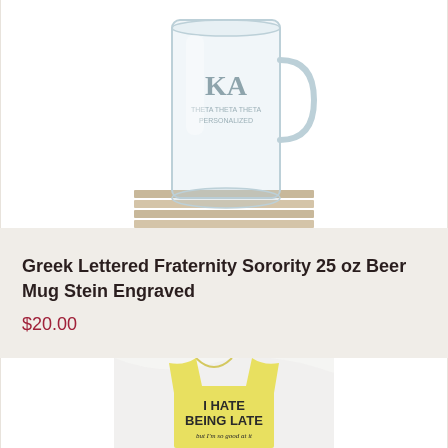[Figure (photo): A glass beer mug stein with Greek letters KA engraved on it, photographed on a wooden surface]
Greek Lettered Fraternity Sorority 25 oz Beer Mug Stein Engraved
$20.00
[Figure (photo): A yellow t-shirt with text reading 'I HATE BEING LATE but I'm so good at it']